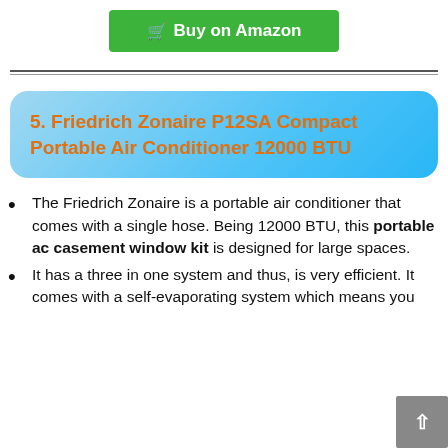[Figure (other): Green 'Buy on Amazon' button with shopping cart icon]
5. Friedrich Zonaire P12SA Compact Portable Air Conditioner 12000 BTU
The Friedrich Zonaire is a portable air conditioner that comes with a single hose. Being 12000 BTU, this portable ac casement window kit is designed for large spaces.
It has a three in one system and thus, is very efficient. It comes with a self-evaporating system which means you